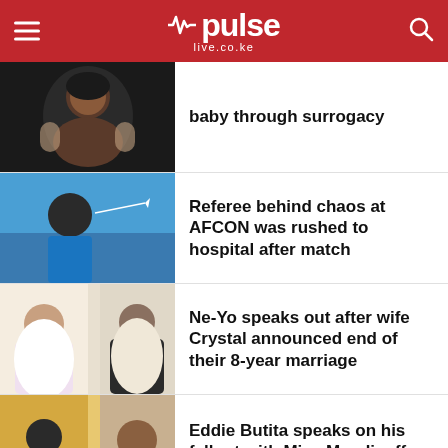pulse live.co.ke
baby through surrogacy
Referee behind chaos at AFCON was rushed to hospital after match
Ne-Yo speaks out after wife Crystal announced end of their 8-year marriage
Eddie Butita speaks on his fallout with Miss Mandi, offers her a job